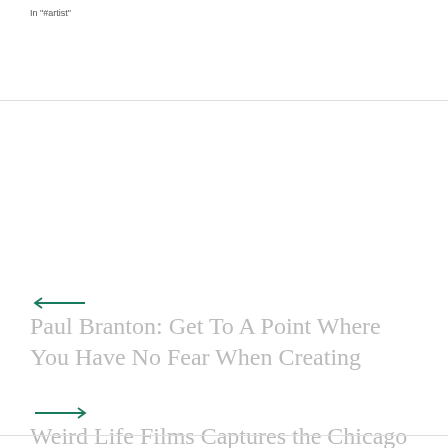In "#artist"
← Paul Branton: Get To A Point Where You Have No Fear When Creating
→ Weird Life Films Captures the Chicago Vision